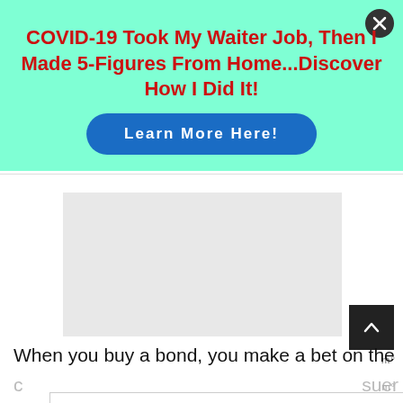COVID-19 Took My Waiter Job, Then I Made 5-Figures From Home...Discover How I Did It!
Learn More Here!
[Figure (other): Grey placeholder image box in article content area]
When you buy a bond, you make a bet on the
[Figure (other): Sandy Hook Promise advertisement banner: Learn the signs to prevent school shootings.]